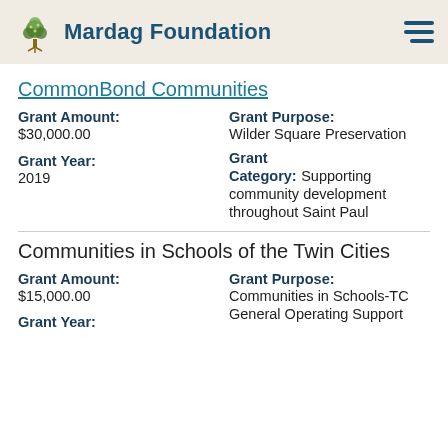Mardag Foundation
CommonBond Communities
Grant Amount: $30,000.00
Grant Purpose: Wilder Square Preservation
Grant Year: 2019
Grant Category: Supporting community development throughout Saint Paul
Communities in Schools of the Twin Cities
Grant Amount: $15,000.00
Grant Purpose: Communities in Schools-TC General Operating Support
Grant Year: